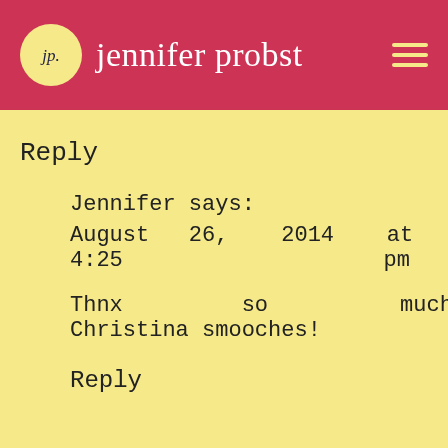jp. jennifer probst
Reply
Jennifer says:
August 26, 2014 at 4:25 pm
Thnx so much Christina smooches!
Reply